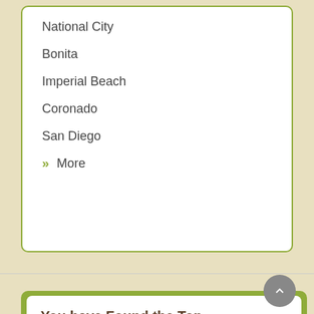National City
Bonita
Imperial Beach
Coronado
San Diego
» More
You have Found the Top Therapists for Addiction And Codependency in Chula Vista, CA